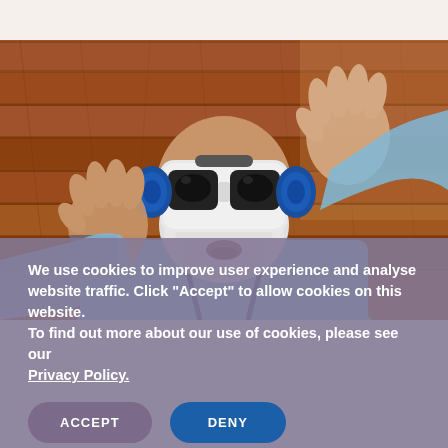[Figure (photo): Elderly bearded man wearing VR headset and blue headphones, with both hands raised, wearing a light blue shirt with suspenders, against a wooden plank wall background. Tattooed arms visible.]
We use cookies to improve user experience and analyse website traffic. Click "Accept" to allow cookies on this website. To find out more about our use of cookies, please see our Privacy Policy.